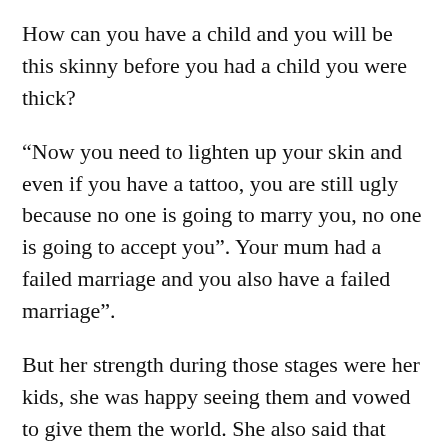How can you have a child and you will be this skinny before you had a child you were thick?
“Now you need to lighten up your skin and even if you have a tattoo, you are still ugly because no one is going to marry you, no one is going to accept you”. Your mum had a failed marriage and you also have a failed marriage”.
But her strength during those stages were her kids, she was happy seeing them and vowed to give them the world. She also said that apart from her kid, clubbing and drinking also helped her stay sane and